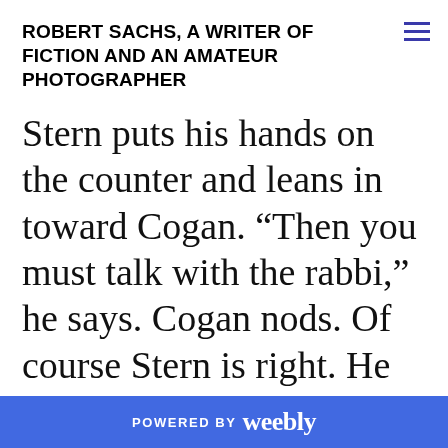ROBERT SACHS, A WRITER OF FICTION AND AN AMATEUR PHOTOGRAPHER
Stern puts his hands on the counter and leans in toward Cogan. “Then you must talk with the rabbi,” he says. Cogan nods. Of course Stern is right. He knows he has no choice. To be silent, he concludes, is to condone. He finishes what’s left of the Alka-
POWERED BY weebly